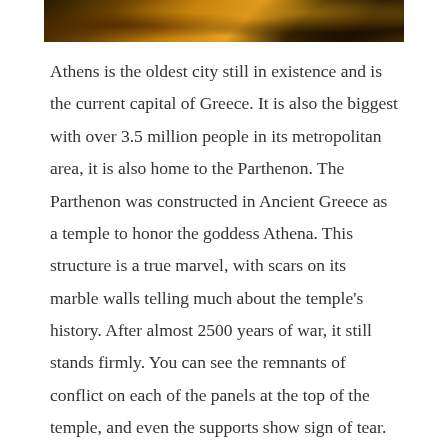[Figure (photo): Partial view of a historical site or ancient ruins with warm amber and dark tones, likely the Acropolis or Parthenon area]
Athens is the oldest city still in existence and is the current capital of Greece. It is also the biggest with over 3.5 million people in its metropolitan area, it is also home to the Parthenon. The Parthenon was constructed in Ancient Greece as a temple to honor the goddess Athena. This structure is a true marvel, with scars on its marble walls telling much about the temple's history. After almost 2500 years of war, it still stands firmly. You can see the remnants of conflict on each of the panels at the top of the temple, and even the supports show sign of tear. Even after reconstructing and buttressing the structure, the Greek government chose to leave the scars as a lesson for modern visitors about the effects of war. A trip to Greece should absolutely include this symbol of the ancient culture, Athenian democracy, western